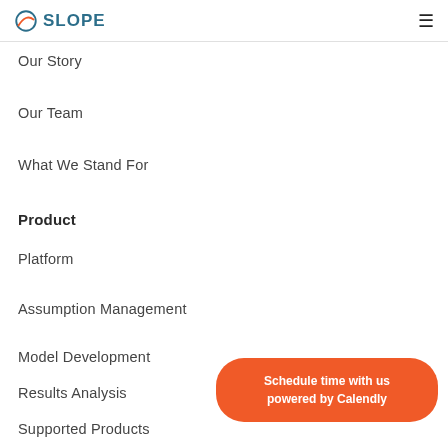SLOPE
Our Story
Our Team
What We Stand For
Product
Platform
Assumption Management
Model Development
Results Analysis
Supported Products
Solutions
Actuarial Modeling
Schedule time with us
powered by Calendly